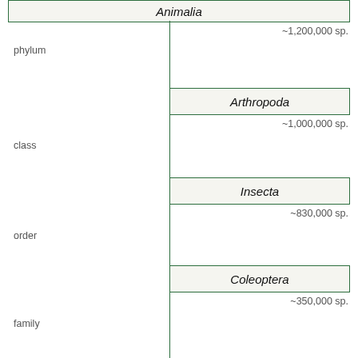[Figure (other): Taxonomic classification hierarchy diagram showing: Animalia (phylum ~1,200,000 sp.) → Arthropoda (class ~1,000,000 sp.) → Insecta (order ~830,000 sp.) → Coleoptera (family ~350,000 sp.) → Cerambycidae (subfamily ~35,000 sp.) → Lamiinae (tribe 20,213 sp.) → Lamiini (genus 1,668 sp.)]